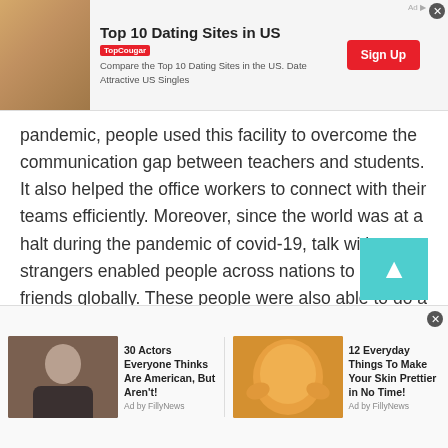[Figure (other): Top advertisement banner: 'Top 10 Dating Sites in US' with TopCougar logo, description 'Compare the Top 10 Dating Sites in the US. Date Attractive US Singles', and a red Sign Up button]
pandemic, people used this facility to overcome the communication gap between teachers and students. It also helped the office workers to connect with their teams efficiently. Moreover, since the world was at a halt during the pandemic of covid-19, talk with strangers enabled people across nations to make friends globally. These people were also able to do a conference call to enhance friendships.
4. Discuss anything from sports, games
[Figure (other): Bottom advertisement banner with two items: '30 Actors Everyone Thinks Are American, But Aren't! Ad by FillyNews' with photo of a bald man, and '12 Everyday Things To Make Your Skin Prettier in No Time! Ad by FillyNews' with photo of a woman applying face mask]